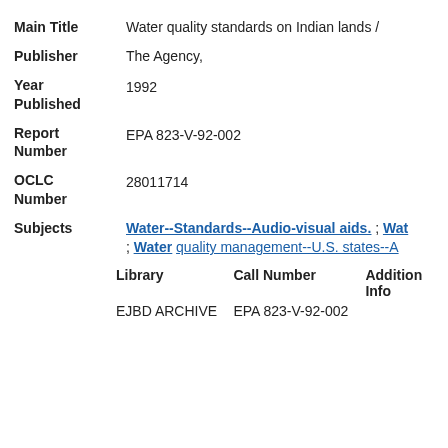Main Title: Water quality standards on Indian lands /
Publisher: The Agency,
Year Published: 1992
Report Number: EPA 823-V-92-002
OCLC Number: 28011714
Subjects: Water--Standards--Audio-visual aids. ; Water quality management--U.S. states--Audio-visual aids.
| Library | Call Number | Additional Info |
| --- | --- | --- |
| EJBD ARCHIVE | EPA 823-V-92-002 |  |